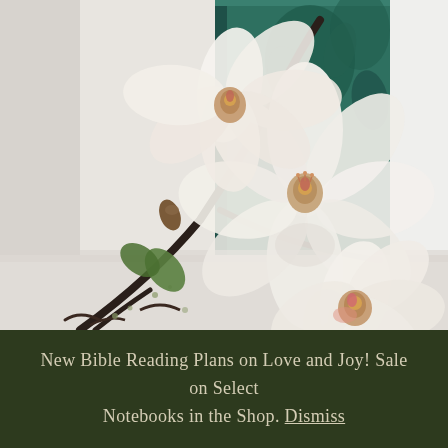[Figure (photo): A photograph of white magnolia flowers on a dark branch, leaning against a dark teal/green hardcover book with floral illustrations, on a light grey surface.]
New Bible Reading Plans on Love and Joy! Sale on Select Notebooks in the Shop. Dismiss